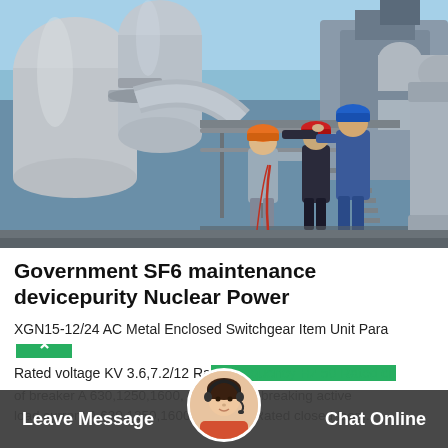[Figure (photo): Three workers in hard hats and coveralls standing on a metal platform/scaffolding next to large industrial SF6 electrical equipment/switchgear pipes at a power facility. Two workers wear blue coveralls, one wears an orange hard hat and gray clothing. Red hard hat on center worker.]
Government SF6 maintenance devicepurity Nuclear Power
XGN15-12/24 AC Metal Enclosed Switchgear Item Unit Para
Rated voltage KV 3.6,7.2/12 Rated frequency Hz 50 Rated cu
of breaker A 630,1250,1600, 3150 Rated breaking active
load current A 630,1250,1600, 500,3150 Rated closed loop...
Leave Message
Chat Online